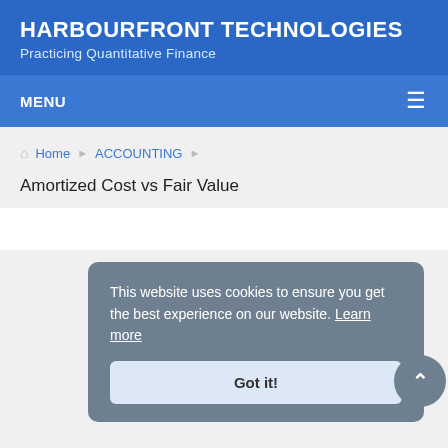HARBOURFRONT TECHNOLOGIES
Practicing Quantitative Finance
MENU
Home ▶ ACCOUNTING ▶ Amortized Cost vs Fair Value
Amortized Cost vs Fair Value
This website uses cookies to ensure you get the best experience on our website. Learn more
Got it!